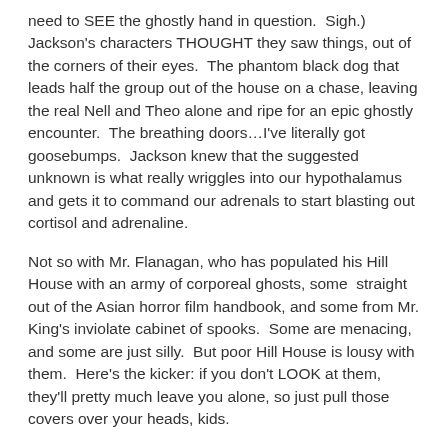need to SEE the ghostly hand in question.  Sigh.)  Jackson's characters THOUGHT they saw things, out of the corners of their eyes.  The phantom black dog that leads half the group out of the house on a chase, leaving the real Nell and Theo alone and ripe for an epic ghostly encounter.  The breathing doors…I've literally got goosebumps.  Jackson knew that the suggested unknown is what really wriggles into our hypothalamus and gets it to command our adrenals to start blasting out cortisol and adrenaline.
Not so with Mr. Flanagan, who has populated his Hill House with an army of corporeal ghosts, some straight out of the Asian horror film handbook, and some from Mr. King's inviolate cabinet of spooks.  Some are menacing, and some are just silly.  But poor Hill House is lousy with them.  Here's the kicker: if you don't LOOK at them, they'll pretty much leave you alone, so just pull those covers over your heads, kids.